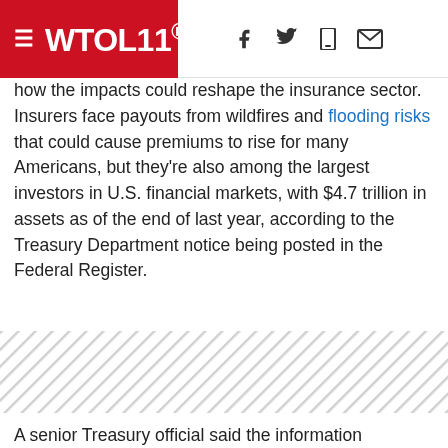WTOL 11
how the impacts could reshape the insurance sector.
Insurers face payouts from wildfires and flooding risks that could cause premiums to rise for many Americans, but they're also among the largest investors in U.S. financial markets, with $4.7 trillion in assets as of the end of last year, according to the Treasury Department notice being posted in the Federal Register.
[Figure (other): Diagonal hatched/striped background pattern area (advertisement placeholder)]
A senior Treasury official said the information gathered would help to more fully understand how climate change could potentially destabilize the stock, bond, commodities and housing markets and how to protect markets as a result. The official, insisting on anonymity to discuss the notice, said the goal would be to make any data usable for